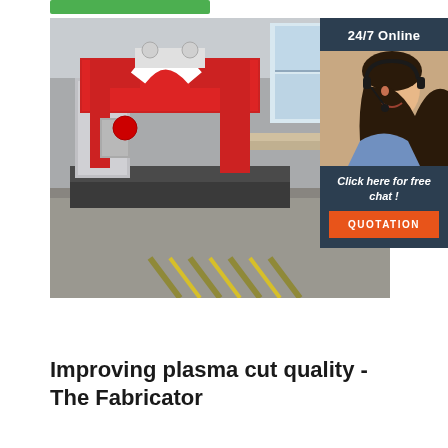[Figure (photo): Large industrial plasma cutting machine with red and white frame, C-shaped gantry structure, in a factory/workshop setting with concrete floor and yellow safety stripes. On the right side is an overlay showing a 24/7 Online chat widget with a woman wearing a headset, a 'Click here for free chat!' message, and an orange QUOTATION button.]
Improving plasma cut quality - The Fabricator